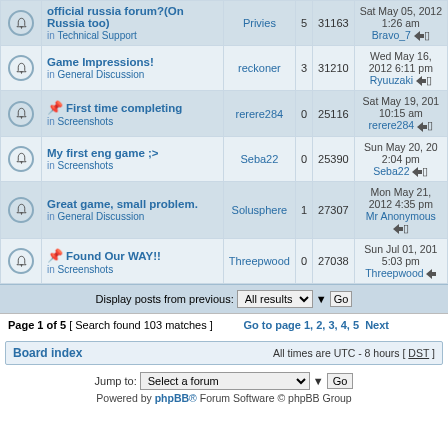|  | Topic | Author | Replies | Views | Last post |
| --- | --- | --- | --- | --- | --- |
|  | official russia forum?(On Russia too) in Technical Support | Privies | 5 | 31163 | Sat May 05, 2012 1:26 am Bravo_7 |
|  | Game Impressions! in General Discussion | reckoner | 3 | 31210 | Wed May 16, 2012 6:11 pm Ryuuzaki |
|  | First time completing in Screenshots | rerere284 | 0 | 25116 | Sat May 19, 2012 10:15 am rerere284 |
|  | My first eng game ;> in Screenshots | Seba22 | 0 | 25390 | Sun May 20, 2012 2:04 pm Seba22 |
|  | Great game, small problem. in General Discussion | Solusphere | 1 | 27307 | Mon May 21, 2012 4:35 pm Mr Anonymous |
|  | Found Our WAY!! in Screenshots | Threepwood | 0 | 27038 | Sun Jul 01, 2012 5:03 pm Threepwood |
Display posts from previous: All results Go
Page 1 of 5 [ Search found 103 matches ] Go to page 1, 2, 3, 4, 5 Next
Board index  All times are UTC - 8 hours [ DST ]
Jump to: Select a forum Go
Powered by phpBB® Forum Software © phpBB Group